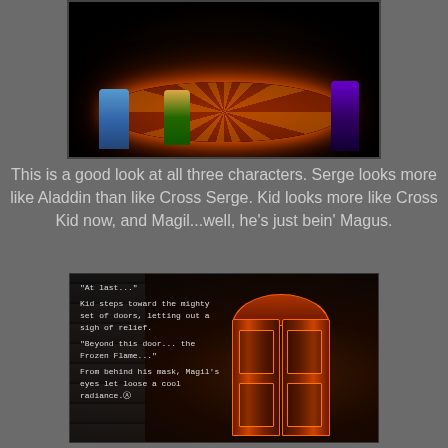[Figure (screenshot): Video game screenshot showing three characters (Serge, Kid, and Magil) standing on a colorful glowing carpet/platform in a dark environment. Serge is on the left in blue, Kid in the center in green/yellow, and Magil on the right in purple.]
This is a good look at all three characters. Serge looks more like Aladdin than like Cross Serge. Kid looks more like Cross Kid now, and Magil...well, he's just bein' Magus.
[Figure (screenshot): Video game screenshot showing ornate double doors with glowing orange/red borders in a stone dungeon setting. Overlaid game dialogue text reads: "At last..." / "Kid steps toward the mighty set of doors, letting out a sigh of relief." / "Beyond this door... the Frozen Flame..." / "From behind his mask, Magil's eyes let loose a cool radiance."]